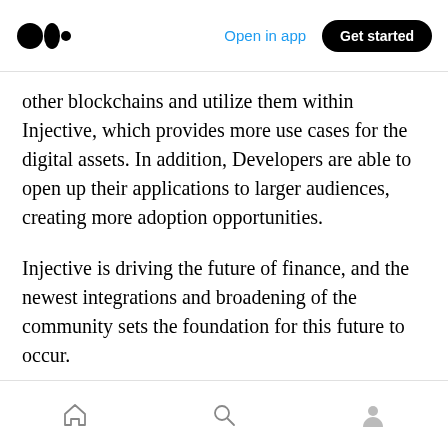Medium app header — Open in app | Get started
other blockchains and utilize them within Injective, which provides more use cases for the digital assets. In addition, Developers are able to open up their applications to larger audiences, creating more adoption opportunities.
Injective is driving the future of finance, and the newest integrations and broadening of the community sets the foundation for this future to occur.
Stay tuned and follow Injective on Discord,
Bottom navigation bar — Home | Search | Profile